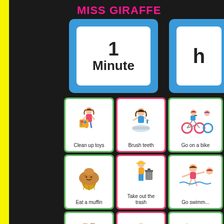[Figure (photo): Educational classroom display showing a 'Miss Giraffe' branded activity chart with time-based cards. A large '1 Minute' card in blue border is visible, surrounded by activity cards with illustrations: 'Clean up toys', 'Brush teeth', 'Go on a bike (ride)', 'Eat a muffin', 'Take out the trash', 'Go swimm(ing)', and partial cards at bottom. Yellow bar on left edge.]